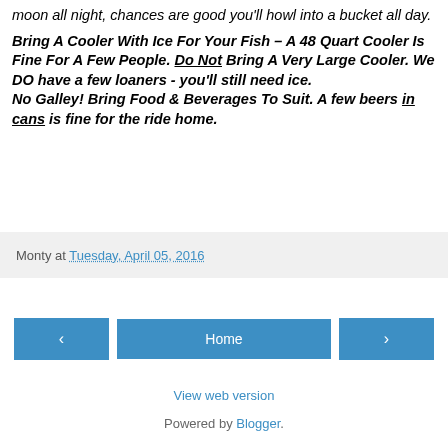moon all night, chances are good you'll howl into a bucket all day.
Bring A Cooler With Ice For Your Fish – A 48 Quart Cooler Is Fine For A Few People. Do Not Bring A Very Large Cooler. We DO have a few loaners - you'll still need ice.
No Galley! Bring Food & Beverages To Suit. A few beers in cans is fine for the ride home.
Monty at Tuesday, April 05, 2016
< Home >
View web version
Powered by Blogger.